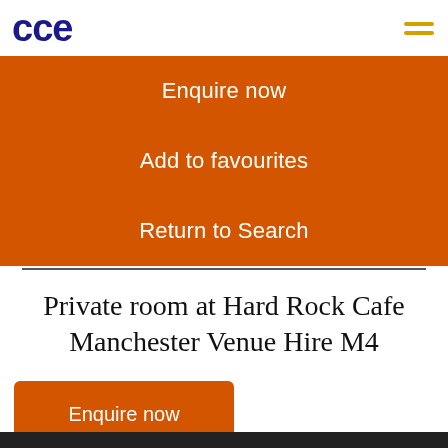cce
Enquire now
Add to favourites
Return to Search
Private room at Hard Rock Cafe Manchester Venue Hire M4
Enquire now